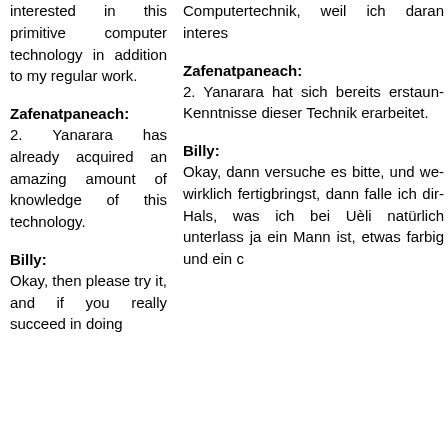interested in this primitive computer technology in addition to my regular work.
Computertechnik, weil ich daran interest…
Zafenatpaneach:
Zafenatpaneach:
2. Yanarara has already acquired an amazing amount of knowledge of this technology.
2. Yanarara hat sich bereits erstaun… Kenntnisse dieser Technik erarbeitet.
Billy:
Billy:
Okay, then please try it, and if you really succeed in doing
Okay, dann versuche es bitte, und we… wirklich fertigbringst, dann falle ich dir… Hals, was ich bei Uèli natürlich unterlass… ja ein Mann ist, etwas farbig und ein c…